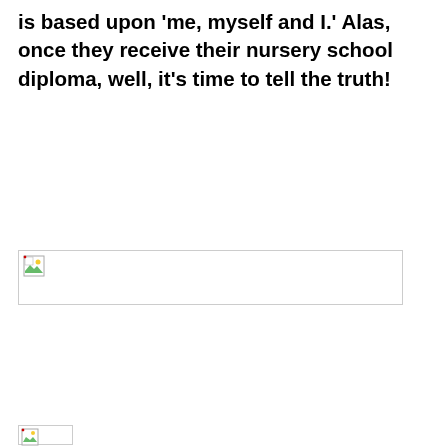is based upon 'me, myself and I.' Alas, once they receive their nursery school diploma, well, it's time to tell the truth!
[Figure (photo): Broken/placeholder image icon — a rectangular image placeholder with a small broken image icon in the top-left corner, bordered by a thin gray rectangle.]
[Figure (photo): Second broken/placeholder image icon at the bottom of the page, partial view.]